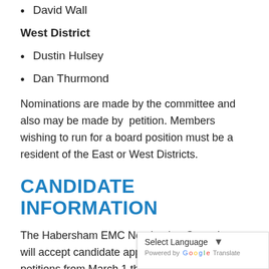David Wall
West District
Dustin Hulsey
Dan Thurmond
Nominations are made by the committee and also may be made by  petition. Members wishing to run for a board position must be a resident of the East or West Districts.
CANDIDATE INFORMATION
The Habersham EMC Nominating Committee will accept candidate applications and/or petitions from March 1 through April 18, 2019, by the close of business at 5 p.m. All applications received in the office by deadline will be presented to the Nominating Committee